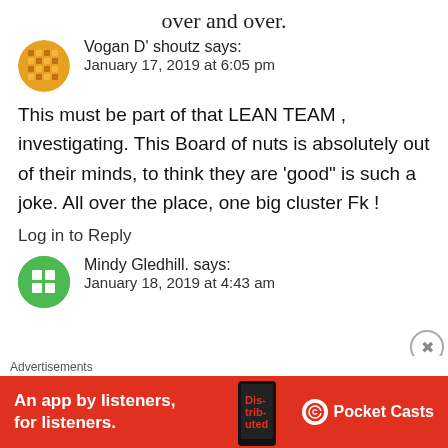over and over.
Vogan D' shoutz says:
January 17, 2019 at 6:05 pm
This must be part of that LEAN TEAM , investigating. This Board of nuts is absolutely out of their minds, to think they are ‘good” is such a joke. All over the place, one big cluster Fk !
Log in to Reply
Mindy Gledhill. says:
January 18, 2019 at 4:43 am
[Figure (other): Advertisement banner for Pocket Casts app: red background with white text 'An app by listeners, for listeners.' and Pocket Casts logo on the right, with a phone image in the center-right area.]